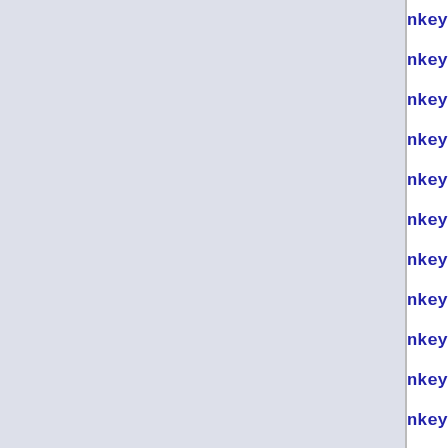| author | line | code |
| --- | --- | --- |
| nkeynes@1 | 271 | rev="`; fo |
| nkeynes@1 | 272 | if test |
| nkeynes@1 | 273 | rev="$ |
| nkeynes@1 | 274 | fi; \ |
| nkeynes@1 | 275 | done; \ |
| nkeynes@1 | 276 | rev="$$rev |
| nkeynes@1 | 277 | target=`ec |
| nkeynes@1 | 278 | for subdir |
| nkeynes@1 | 279 | echo "Ma |
| nkeynes@1 | 280 | if test |
| nkeynes@1 | 281 | local_ |